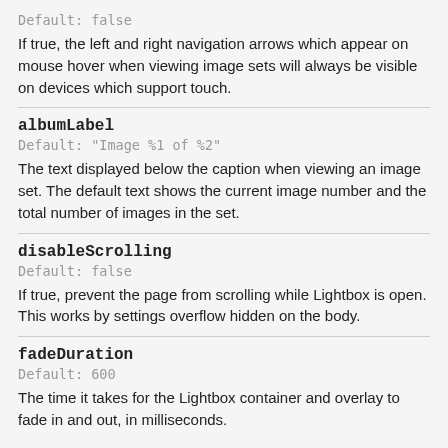Default: false
If true, the left and right navigation arrows which appear on mouse hover when viewing image sets will always be visible on devices which support touch.
albumLabel
Default: "Image %1 of %2"
The text displayed below the caption when viewing an image set. The default text shows the current image number and the total number of images in the set.
disableScrolling
Default: false
If true, prevent the page from scrolling while Lightbox is open. This works by settings overflow hidden on the body.
fadeDuration
Default: 600
The time it takes for the Lightbox container and overlay to fade in and out, in milliseconds.